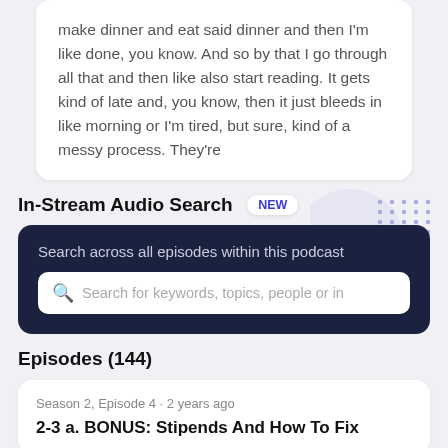make dinner and eat said dinner and then I'm like done, you know. And so by that I go through all that and then like also start reading. It gets kind of late and, you know, then it just bleeds in like morning or I'm tired, but sure, kind of a messy process. They're
In-Stream Audio Search NEW
[Figure (screenshot): Dark navy search card with text 'Search across all episodes within this podcast' and a search input box with placeholder 'Search for keywords, topics, people or in']
Episodes (144)
Season 2, Episode 4 · 2 years ago
2-3 a. BONUS: Stipends And How To Fix